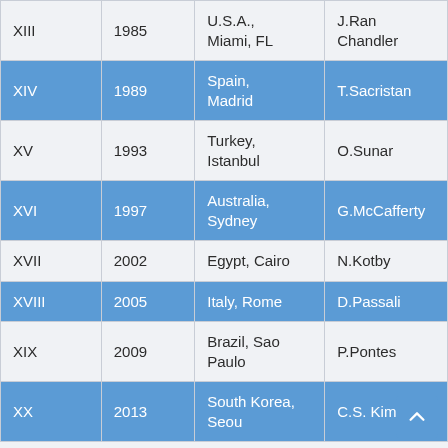|  | Year | Location | Person |
| --- | --- | --- | --- |
| XIII | 1985 | U.S.A., Miami, FL | J.Ran Chandler |
| XIV | 1989 | Spain, Madrid | T.Sacristan |
| XV | 1993 | Turkey, Istanbul | O.Sunar |
| XVI | 1997 | Australia, Sydney | G.McCafferty |
| XVII | 2002 | Egypt, Cairo | N.Kotby |
| XVIII | 2005 | Italy, Rome | D.Passali |
| XIX | 2009 | Brazil, Sao Paulo | P.Pontes |
| XX | 2013 | South Korea, Seoul | C.S. Kim |